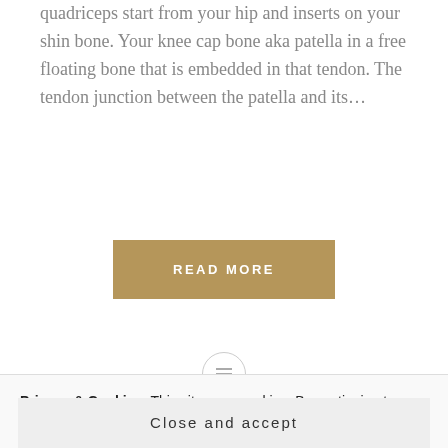quadriceps start from your hip and inserts on your shin bone. Your knee cap bone aka patella in a free floating bone that is embedded in that tendon. The tendon junction between the patella and its…
READ MORE
[Figure (other): Horizontal divider with a circular icon containing horizontal lines (hamburger menu icon) in the center]
Privacy & Cookies: This site uses cookies. By continuing to use this website, you agree to their use.
To find out more, including how to control cookies, see here: Cookie Policy
Close and accept
and as the interest from many people grows, there are